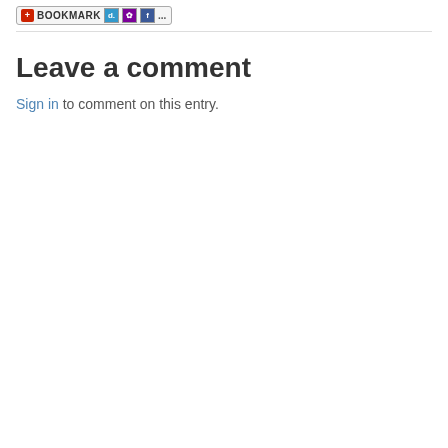[Figure (screenshot): Bookmark button with icons for various social bookmarking services including Delicious, Yahoo, Facebook and others]
Leave a comment
Sign in to comment on this entry.